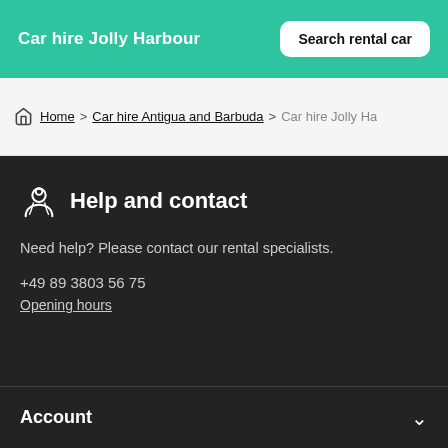Car hire Jolly Harbour
Search rental car
Home > Car hire Antigua and Barbuda > Car hire Jolly Ha
Help and contact
Need help? Please contact our rental specialists.
+49 89 3803 56 75
Opening hours
Account